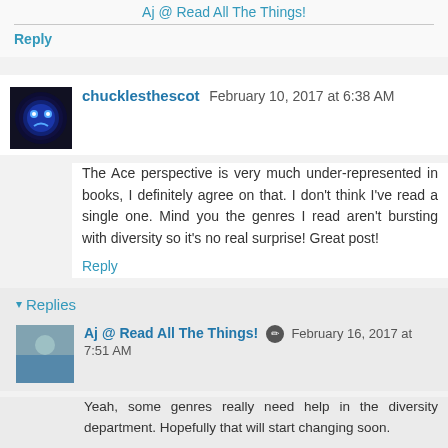Aj @ Read All The Things!
Reply
chucklesthescot  February 10, 2017 at 6:38 AM
The Ace perspective is very much under-represented in books, I definitely agree on that. I don't think I've read a single one. Mind you the genres I read aren't bursting with diversity so it's no real surprise! Great post!
Reply
Replies
Aj @ Read All The Things!  February 16, 2017 at 7:51 AM
Yeah, some genres really need help in the diversity department. Hopefully that will start changing soon.
Aj @ Read All The Things!